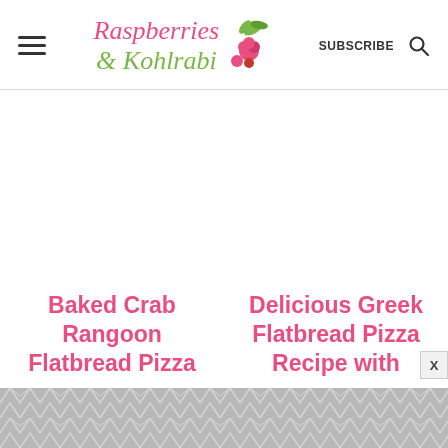Raspberries & Kohlrabi | SUBSCRIBE
[Figure (other): White advertisement space placeholder]
Baked Crab Rangoon Flatbread Pizza
Delicious Greek Flatbread Pizza Recipe with
[Figure (other): Gray geometric hexagon/chevron patterned banner at the bottom of the page]